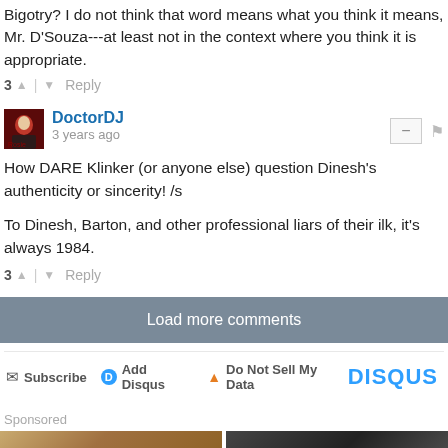Bigotry? I do not think that word means what you think it means, Mr. D'Souza---at least not in the context where you think it is appropriate.
3 ^ | v Reply
DoctorDJ
3 years ago
How DARE Klinker (or anyone else) question Dinesh's authenticity or sincerity! /s

To Dinesh, Barton, and other professional liars of their ilk, it's always 1984.
3 ^ | v Reply
Load more comments
Subscribe | Add Disqus | Do Not Sell My Data | DISQUS
Sponsored